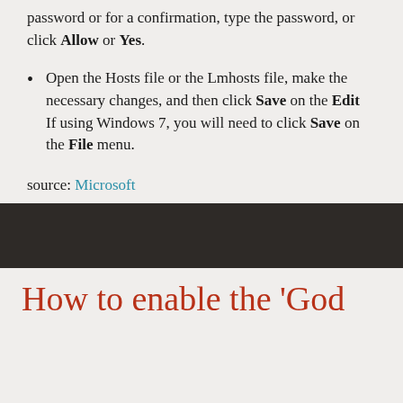password or for a confirmation, type the password, or click Allow or Yes.
Open the Hosts file or the Lmhosts file, make the necessary changes, and then click Save on the Edit  If using Windows 7, you will need to click Save on the File menu.
source: Microsoft
How to enable the 'God